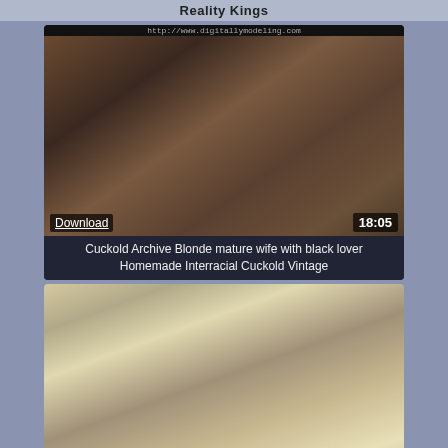Reality Kings
[Figure (screenshot): Video thumbnail showing adult content with watermark overlay and download/duration overlays]
Cuckold Archive Blonde mature wife with black lover Homemade Interracial Cuckold Vintage
[Figure (screenshot): Second video thumbnail showing adult content group photo]